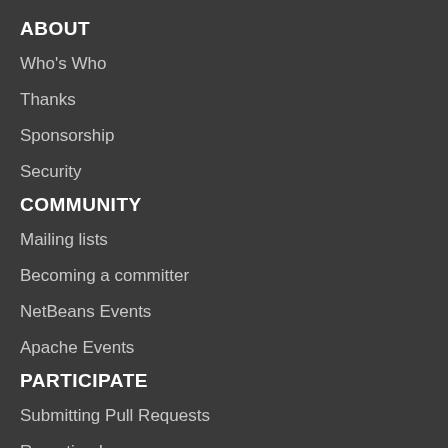ABOUT
Who's Who
Thanks
Sponsorship
Security
COMMUNITY
Mailing lists
Becoming a committer
NetBeans Events
Apache Events
PARTICIPATE
Submitting Pull Requests
Reporting Issues